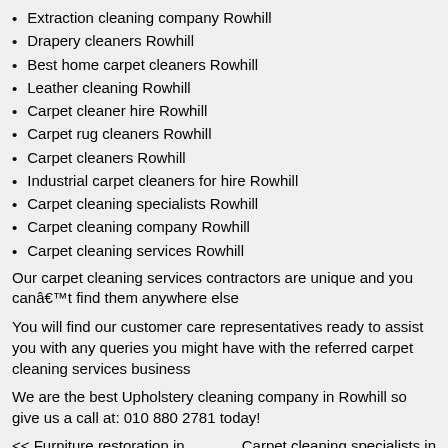Extraction cleaning company Rowhill
Drapery cleaners Rowhill
Best home carpet cleaners Rowhill
Leather cleaning Rowhill
Carpet cleaner hire Rowhill
Carpet rug cleaners Rowhill
Carpet cleaners Rowhill
Industrial carpet cleaners for hire Rowhill
Carpet cleaning specialists Rowhill
Carpet cleaning company Rowhill
Carpet cleaning services Rowhill
Our carpet cleaning services contractors are unique and you canâ€™t find them anywhere else
You will find our customer care representatives ready to assist you with any queries you might have with the referred carpet cleaning services business
We are the best Upholstery cleaning company in Rowhill so give us a call at: 010 880 2781 today!
<< Furniture restoration in Rowhill
Carpet cleaning specialists in Rowhill >>
-> Upholstery cleaning in Holgatfontein
-> Upholstery cleaning in Eland
-> Upholstery cleaning in Honingklin